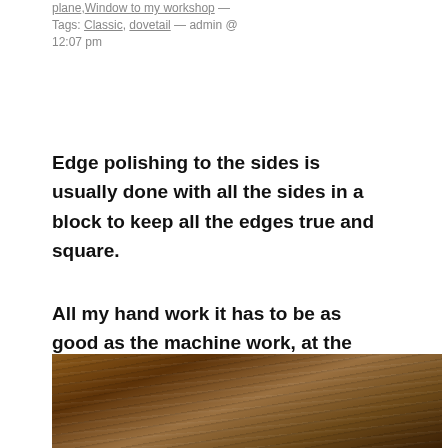plane, Window to my workshop — Tags: Classic, dovetail — admin @ 12:07 pm
Edge polishing to the sides is usually done with all the sides in a block to keep all the edges true and square.
All my hand work it has to be as good as the machine work, at the risk of looking clinical with no soul 😀
[Figure (photo): Close-up photograph of a dark brown wooden surface with wood grain texture visible]